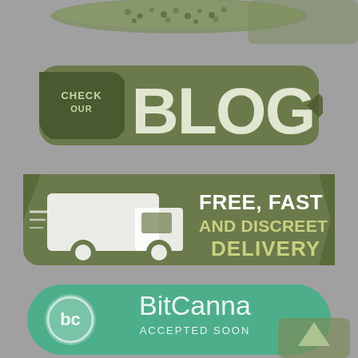[Figure (infographic): Cannabis seeds image at top, partially cropped]
[Figure (infographic): Green hexagonal badge with text CHECK OUR BLOG, with large bold BLOG text]
[Figure (infographic): Green banner with delivery truck icon and text FREE, FAST AND DISCREET DELIVERY]
[Figure (logo): BitCanna accepted soon badge - teal rounded rectangle with bc logo circle and text BitCanna ACCEPTED SOON]
[Figure (illustration): Partial green element at bottom right, cropped]